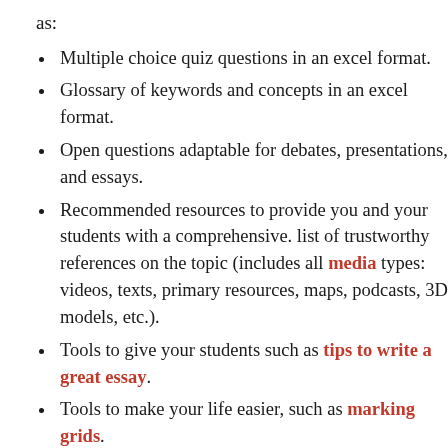as:
Multiple choice quiz questions in an excel format.
Glossary of keywords and concepts in an excel format.
Open questions adaptable for debates, presentations, and essays.
Recommended resources to provide you and your students with a comprehensive. list of trustworthy references on the topic (includes all media types: videos, texts, primary resources, maps, podcasts, 3D models, etc.).
Tools to give your students such as tips to write a great essay.
Tools to make your life easier, such as marking grids.